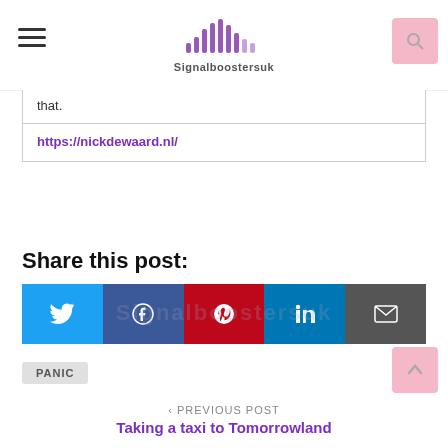Signalboostersuk
that.
https://nickdewaard.nl/
Share this post:
[Figure (other): Social share buttons: Twitter, Facebook, Pinterest, LinkedIn, Email]
PANIC
< PREVIOUS POST
Taking a taxi to Tomorrowland